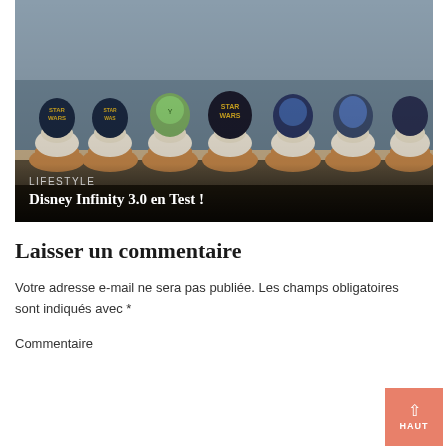[Figure (photo): Photo of Star Wars themed cupcakes with decorative toppers including characters and logos, dark background]
LIFESTYLE
Disney Infinity 3.0 en Test !
Laisser un commentaire
Votre adresse e-mail ne sera pas publiée. Les champs obligatoires sont indiqués avec *
Commentaire